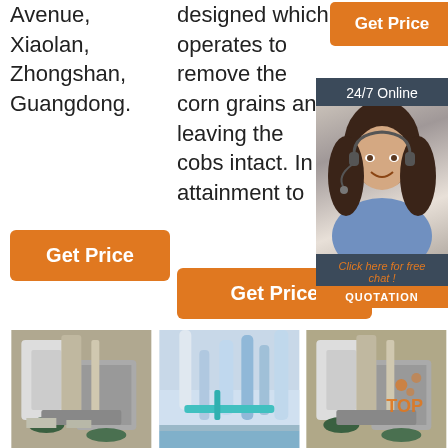Avenue, Xiaolan, Zhongshan, Guangdong.
[Figure (other): Orange 'Get Price' button (left column)]
designed which operates to remove the corn grains and leaving the cobs intact. In attainment to
[Figure (other): Orange 'Get Price' button (top right sidebar)]
[Figure (other): 24/7 Online chat widget with photo of woman with headset, 'Click here for free chat!' and QUOTATION button]
[Figure (other): Orange 'Get Price' button (middle column)]
[Figure (photo): Industrial milling machinery photo 1]
[Figure (photo): Industrial milling machinery photo 2]
[Figure (photo): Industrial milling machinery photo 3 with TOP badge]